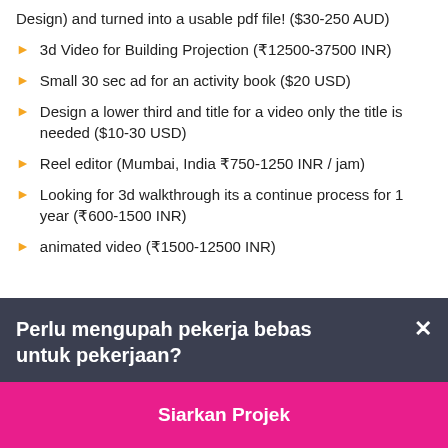Design) and turned into a usable pdf file! ($30-250 AUD)
3d Video for Building Projection (₹12500-37500 INR)
Small 30 sec ad for an activity book ($20 USD)
Design a lower third and title for a video only the title is needed ($10-30 USD)
Reel editor (Mumbai, India ₹750-1250 INR / jam)
Looking for 3d walkthrough its a continue process for 1 year (₹600-1500 INR)
animated video (₹1500-12500 INR)
Perlu mengupah pekerja bebas untuk pekerjaan?
Siarkan Projek